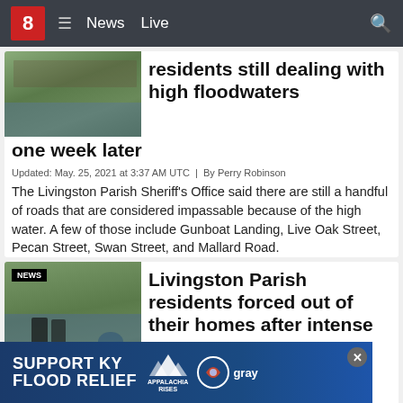8 News Live
[Figure (photo): Flooded area with trees and water]
residents still dealing with high floodwaters one week later
Updated: May. 25, 2021 at 3:37 AM UTC | By Perry Robinson
The Livingston Parish Sheriff’s Office said there are still a handful of roads that are considered impassable because of the high water. A few of those include Gunboat Landing, Live Oak Street, Pecan Street, Swan Street, and Mallard Road.
[Figure (photo): People wading through floodwaters with NEWS badge]
Livingston Parish residents forced out of their homes after intense flash flooding
Updated
Resid... their
[Figure (infographic): SUPPORT KY FLOOD RELIEF ad banner with Appalachia Rises and Gray logos]